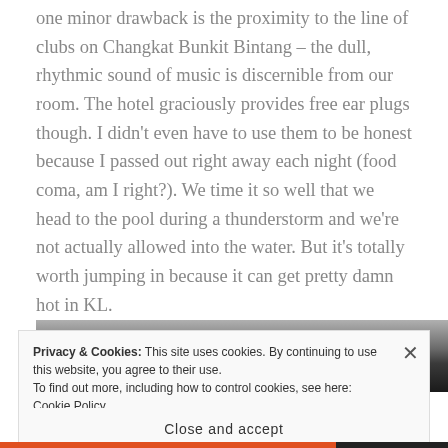one minor drawback is the proximity to the line of clubs on Changkat Bunkit Bintang – the dull, rhythmic sound of music is discernible from our room. The hotel graciously provides free ear plugs though. I didn't even have to use them to be honest because I passed out right away each night (food coma, am I right?). We time it so well that we head to the pool during a thunderstorm and we're not actually allowed into the water. But it's totally worth jumping in because it can get pretty damn hot in KL.
[Figure (photo): Partial view of a hotel room or pool area, dark tones visible at the top of the image strip]
Privacy & Cookies: This site uses cookies. By continuing to use this website, you agree to their use.
To find out more, including how to control cookies, see here: Cookie Policy
Close and accept